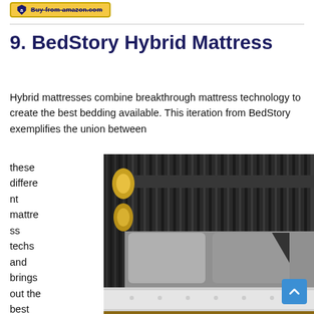[Figure (logo): Amazon Buy button with shield logo and strikethrough text 'Buy from amazon.com']
9. BedStory Hybrid Mattress
Hybrid mattresses combine breakthrough mattress technology to create the best bedding available. This iteration from BedStory exemplifies the union between these different mattress techs and brings out the best
[Figure (photo): Close-up photo of a dark wood slatted bed headboard with a gold/brass wall sconce light, white tufted mattress and gray pillows visible]